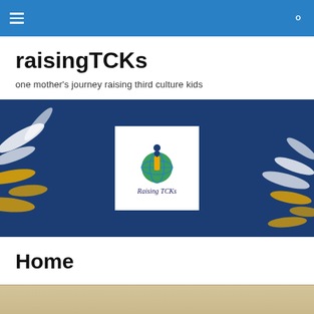Navigation bar with hamburger menu and search icon
raisingTCKs
one mother's journey raising third culture kids
[Figure (logo): Banner with dark navy background, decorative white and yellow brush strokes, and a centered white box containing the Raising TCKs logo — a globe with a figure, the letter i, and the text 'Raising TCKs' in italic below]
Home
[Figure (photo): Partial view of a tan/beige textured background at the bottom of the page]